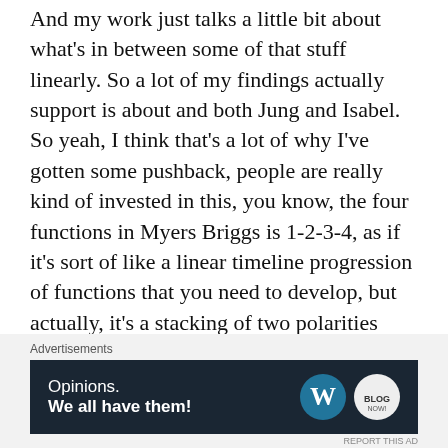And my work just talks a little bit about what's in between some of that stuff linearly. So a lot of my findings actually support is about and both Jung and Isabel. So yeah, I think that's a lot of why I've gotten some pushback, people are really kind of invested in this, you know, the four functions in Myers Briggs is 1-2-3-4, as if it's sort of like a linear timeline progression of functions that you need to develop, but actually, it's a stacking of two polarities next to one another. And that's an energetic orientation of what's happening. So I think that explains why.
Advertisements
[Figure (other): Advertisement banner with dark navy background. Text reads 'Opinions. We all have them!' with WordPress logo and another circular logo on the right.]